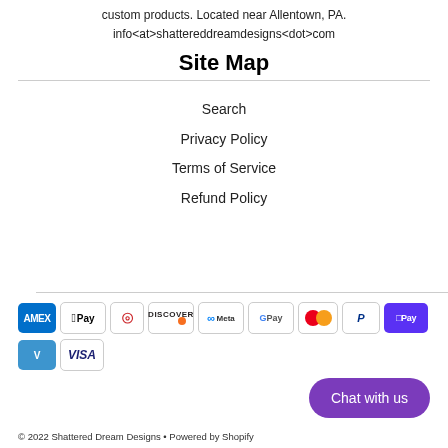custom products. Located near Allentown, PA.
info<at>shattereddreamdesigns<dot>com
Site Map
Search
Privacy Policy
Terms of Service
Refund Policy
[Figure (other): Payment method icons: American Express, Apple Pay, Diners Club, Discover, Meta Pay, Google Pay, Mastercard, PayPal, Shop Pay, Venmo, Visa]
Chat with us
© 2022 Shattered Dream Designs • Powered by Shopify